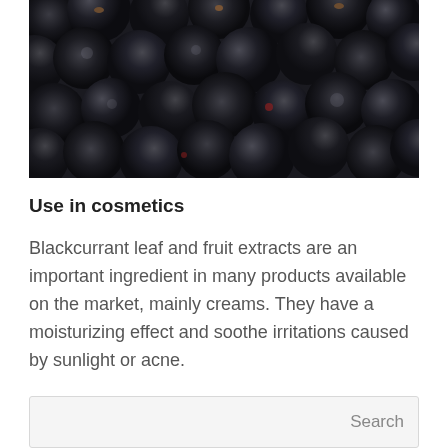[Figure (photo): Close-up photograph of dark blackcurrant berries filling the entire frame]
Use in cosmetics
Blackcurrant leaf and fruit extracts are an important ingredient in many products available on the market, mainly creams. They have a moisturizing effect and soothe irritations caused by sunlight or acne.
As you can see, blackcurrant is not only an ingredient of delicious desserts, but also a valuable raw material with a beneficial, multidirectional effect on our health.
AUTHOR: Dr n. farm. Andrzej Tarasiuk